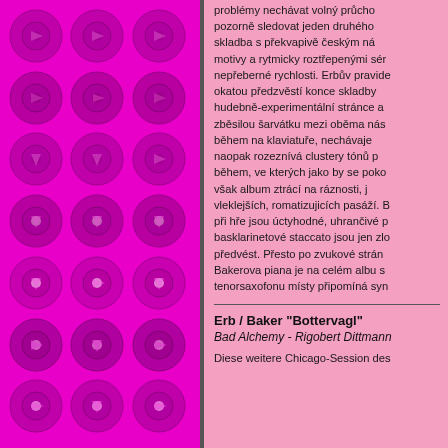[Figure (illustration): Left panel with magenta/pink background covered in a grid of circular vinyl record icons in darker magenta tones]
problémy nechávat volný průcho pozorně sledovat jeden druhého skladba s překvapivě českým ná motivy a rytmicky roztřepenými sér nepřeberné rychlosti. Erbův pravide okatou předzvěstí konce skladby hudebně-experimentální stránce a zběsilou šarvátku mezi oběma nás během na klaviatuře, nechávaje naopak rozeznívá clustery tónů p během, ve kterých jako by se poko však album ztrácí na ráznosti, j vleklejších, romatizujicích pasáží. B při hře jsou úctyhodné, uhrančivé p basklarinetové staccato jsou jen zlo předvést. Přesto po zvukové strán Bakerova piana je na celém albu s tenorsaxofonu místy připomíná syn
Erb / Baker "Bottervagl"
Bad Alchemy - Rigobert Dittmann
Diese weitere Chicago-Session des